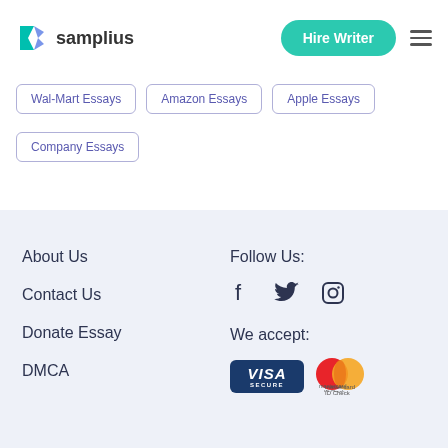samplius — Hire Writer
Wal-Mart Essays
Amazon Essays
Apple Essays
Company Essays
About Us
Contact Us
Donate Essay
DMCA
Follow Us:
We accept: